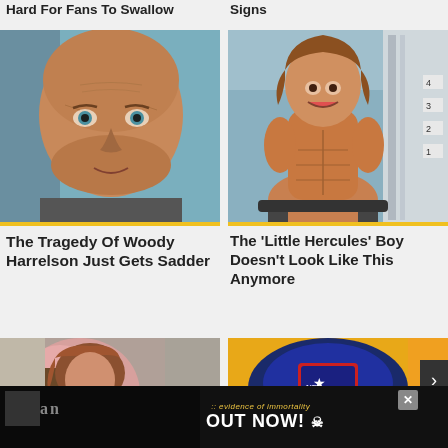Hard For Fans To Swallow
Signs
[Figure (photo): Close-up headshot of a bald man with blue eyes and stubble]
[Figure (photo): Young muscular shirtless boy with long hair in a gym]
The Tragedy Of Woody Harrelson Just Gets Sadder
The 'Little Hercules' Boy Doesn't Look Like This Anymore
[Figure (photo): Partially visible person with reddish hair]
[Figure (photo): Sports cap with team logo on orange background]
[Figure (photo): Advertisement banner with Conan heavy metal theme - OUT NOW!]